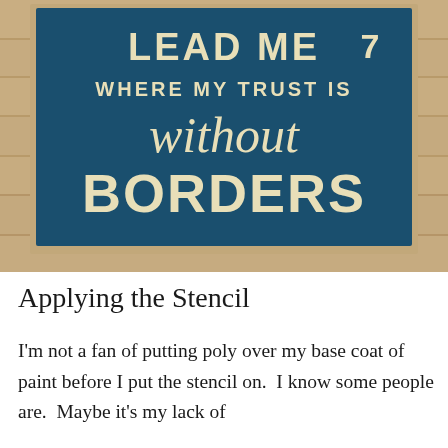[Figure (photo): A decorative painted sign with cream text on a dark teal/navy blue background, leaning against a light wood plank wall. The sign reads: LEAD ME / WHERE MY TRUST IS / without / BORDERS]
Applying the Stencil
I'm not a fan of putting poly over my base coat of paint before I put the stencil on.  I know some people are.  Maybe it's my lack of